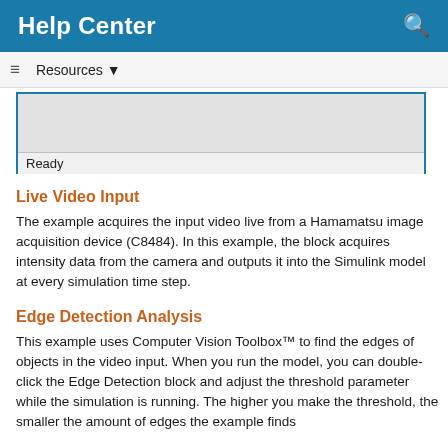Help Center
Resources
[Figure (screenshot): A UI panel showing a gray content area with a 'Ready' status bar at the bottom, bordered in blue.]
Live Video Input
The example acquires the input video live from a Hamamatsu image acquisition device (C8484). In this example, the block acquires intensity data from the camera and outputs it into the Simulink model at every simulation time step.
Edge Detection Analysis
This example uses Computer Vision Toolbox™ to find the edges of objects in the video input. When you run the model, you can double-click the Edge Detection block and adjust the threshold parameter while the simulation is running. The higher you make the threshold, the smaller the amount of edges the example finds